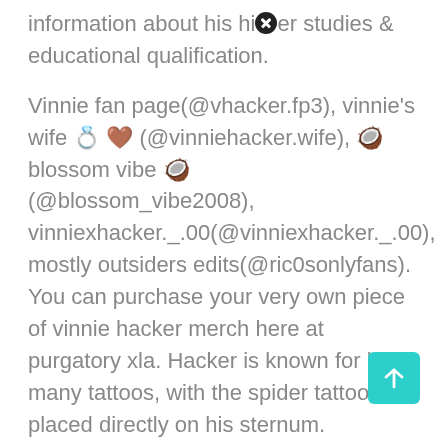information about his higher studies & educational qualification.
Vinnie fan page(@vhacker.fp3), vinnie's wife 💍 🤎 (@vinniehacker.wife), 🥥 blossom vibe 🥥 (@blossom_vibe2008), vinniexhacker._.00(@vinniexhacker._.00), mostly outsiders edits(@ric0sonlyfans). You can purchase your very own piece of vinnie hacker merch here at purgatory xla. Hacker is known for his many tattoos, with the spider tattoo placed directly on his sternum.
Vinnie hacker won the fight against deji olatunji. Vinnie hacker is a tiktok star turned boxing champion. Vinnie hacker, who has 3.5 million followers on instagram, is a tiktok star, model, and boxing newcomer.
It was an intense back and forth battle, but